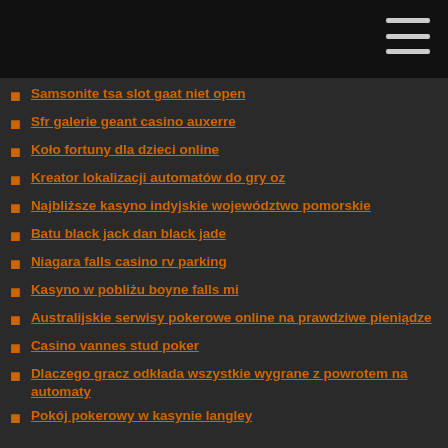Samsonite tsa slot gaat niet open
Sfr galerie geant casino auxerre
Koło fortuny dla dzieci online
Kreator lokalizacji automatów do gry oz
Najbliższe kasyno indyjskie województwo pomorskie
Batu black jack dan black jade
Niagara falls casino rv parking
Kasyno w pobliżu boyne falls mi
Australijskie serwisy pokerowe online na prawdziwe pieniądze
Casino vannes stud poker
Dlaczego gracz odkłada wszystkie wygrane z powrotem na automaty
Pokój pokerowy w kasynie langley